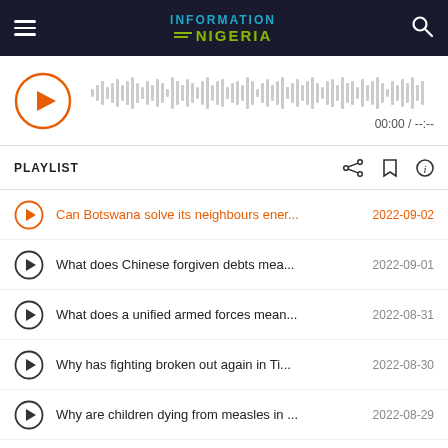INFORMATION NIGERIA
[Figure (screenshot): Audio player with orange play button and waveform, showing time 00:00 / --:--]
PLAYLIST  00:00 / --:--
Can Botswana solve its neighbours ener... 2022-09-02
What does Chinese forgiven debts mea... 2022-09-01
What does a unified armed forces mean... 2022-08-31
Why has fighting broken out again in Ti... 2022-08-30
Why are children dying from measles in ... 2022-08-29
Should UN peacekeepers remain in Afri... 2022-08-26